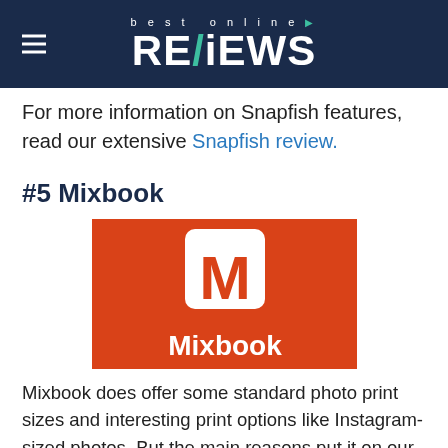best online REVIEWS
For more information on Snapfish features, read our extensive Snapfish review.
#5 Mixbook
[Figure (logo): Mixbook logo: orange/red rectangular background with white M icon and white 'Mixbook' text below]
Mixbook does offer some standard photo print sizes and interesting print options like Instagram-sized photos. But the main reasons put it on our ‘best photo printing service’ list is the range of photo book options they offer. There are 350+ themes in total related to weddings, family